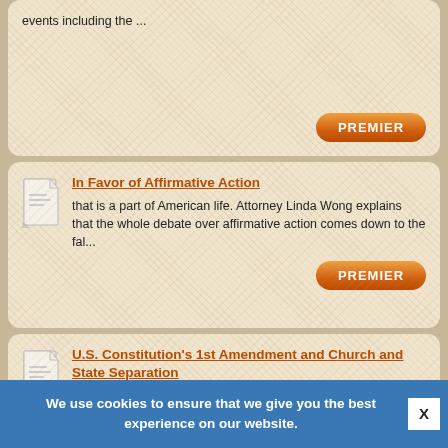events including the ...
PREMIER
In Favor of Affirmative Action
that is a part of American life. Attorney Linda Wong explains that the whole debate over affirmative action comes down to the fal...
PREMIER
U.S. Constitution's 1st Amendment and Church and State Separation
bitter conflict and debate. In Philadelphia, for example, full-scale riots and bloodshed erupted in the 1840s over which version o...
PREMIER
We use cookies to ensure that we give you the best experience on our website.